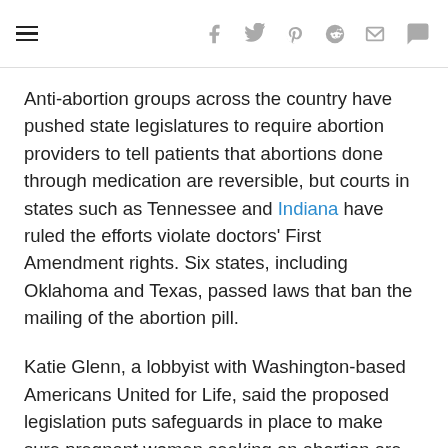≡  f  🐦  p  reddit  ✉  💬2
Anti-abortion groups across the country have pushed state legislatures to require abortion providers to tell patients that abortions done through medication are reversible, but courts in states such as Tennessee and Indiana have ruled the efforts violate doctors' First Amendment rights. Six states, including Oklahoma and Texas, passed laws that ban the mailing of the abortion pill.
Katie Glenn, a lobbyist with Washington-based Americans United for Life, said the proposed legislation puts safeguards in place to make sure pregnant women seeking an abortion are safe.